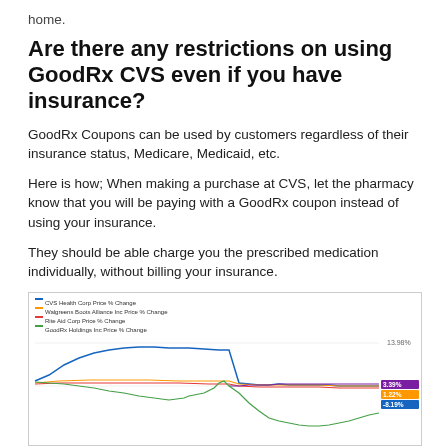home.
Are there any restrictions on using GoodRx CVS even if you have insurance?
GoodRx Coupons can be used by customers regardless of their insurance status, Medicare, Medicaid, etc.
Here is how; When making a purchase at CVS, let the pharmacy know that you will be paying with a GoodRx coupon instead of using your insurance.
They should be able charge you the prescribed medication individually, without billing your insurance.
[Figure (line-chart): Multi-line stock price % change chart showing CVS Health Corp, Walgreens Boots Alliance, Rite Aid Corp, and GoodRx Holdings Inc price % change over time. Lines end with labeled tags: 3.39% (purple), 1.22% (orange), -8.19% (blue). Green line dips significantly. Y-axis shows 13.98% and 0.00% labels.]